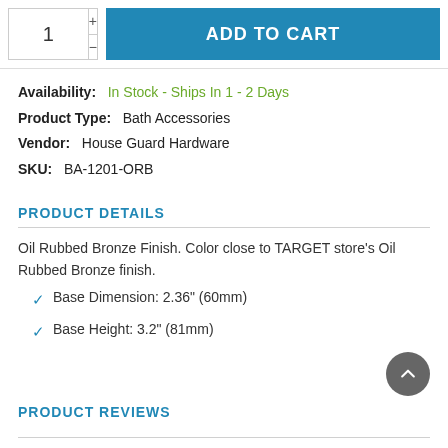[Figure (screenshot): Quantity selector box with + and - buttons, and a blue ADD TO CART button]
Availability: In Stock - Ships In 1 - 2 Days
Product Type: Bath Accessories
Vendor: House Guard Hardware
SKU: BA-1201-ORB
PRODUCT DETAILS
Oil Rubbed Bronze Finish. Color close to TARGET store's Oil Rubbed Bronze finish.
Base Dimension: 2.36" (60mm)
Base Height: 3.2" (81mm)
PRODUCT REVIEWS